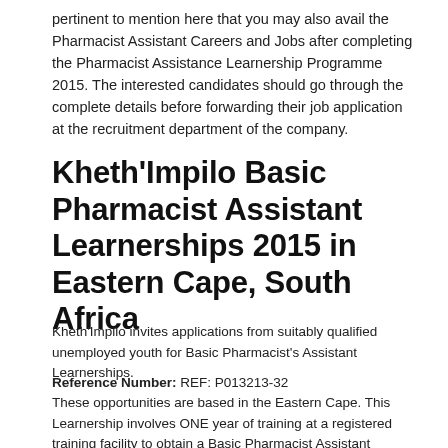pertinent to mention here that you may also avail the Pharmacist Assistant Careers and Jobs after completing the Pharmacist Assistance Learnership Programme 2015. The interested candidates should go through the complete details before forwarding their job application at the recruitment department of the company.
Kheth'Impilo Basic Pharmacist Assistant Learnerships 2015 in Eastern Cape, South Africa
Kheth'Impilo invites applications from suitably qualified unemployed youth for Basic Pharmacist's Assistant Learnerships.
Reference Number: REF: P013213-32
These opportunities are based in the Eastern Cape. This Learnership involves ONE year of training at a registered training facility to obtain a Basic Pharmacist Assistant qualification (HWSETA Accredited).